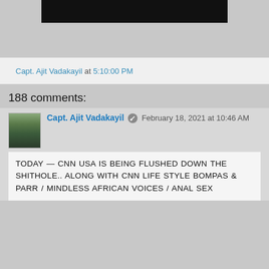[Figure (photo): Partial image at top of page, mostly black/dark area, appears to be a cropped photo]
Capt. Ajit Vadakayil at 5:10:00 PM
188 comments:
Capt. Ajit Vadakayil February 18, 2021 at 10:46 AM
TODAY — CNN USA IS BEING FLUSHED DOWN THE SHITHOLE.. ALONG WITH CNN LIFE STYLE BOMPAS & PARR / MINDLESS AFRICAN VOICES / ANAL SEX